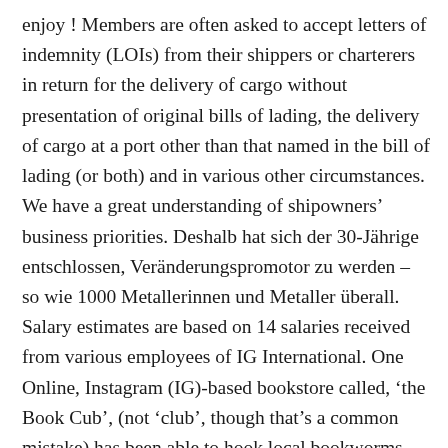enjoy ! Members are often asked to accept letters of indemnity (LOIs) from their shippers or charterers in return for the delivery of cargo without presentation of original bills of lading, the delivery of cargo at a port other than that named in the bill of lading (or both) and in various other circumstances. We have a great understanding of shipowners' business priorities. Deshalb hat sich der 30-Jährige entschlossen, Veränderungspromotor zu werden – so wie 1000 Metallerinnen und Metaller überall. Salary estimates are based on 14 salaries received from various employees of IG International. One Online, Instagram (IG)-based bookstore called, 'the Book Cub', (not 'club', though that's a common mistake) has been able to hook local bookworms. "Since 2012 there have been a reported 2,605 victims who